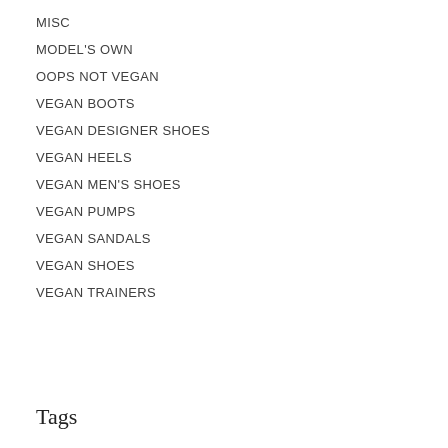MISC
MODEL'S OWN
OOPS NOT VEGAN
VEGAN BOOTS
VEGAN DESIGNER SHOES
VEGAN HEELS
VEGAN MEN'S SHOES
VEGAN PUMPS
VEGAN SANDALS
VEGAN SHOES
VEGAN TRAINERS
Tags